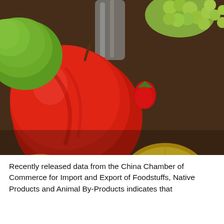[Figure (photo): Close-up photograph of an assortment of fresh fruits on a table including red apples, green apples, strawberries, a halved lemon, green grapes, blueberries, cherry tomatoes, and a peach, with a glass vase or vessel visible in the background.]
Recently released data from the China Chamber of Commerce for Import and Export of Foodstuffs, Native Products and Animal By-Products indicates that